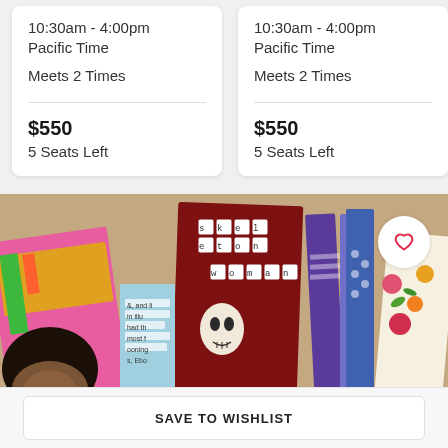10:30am - 4:00pm Pacific Time
Meets 2 Times
$550
5 Seats Left
10:30am - 4:00pm Pacific Time
Meets 2 Times
$550
5 Seats Left
dates that
for you?
Add to W
[Figure (photo): A collection of colorful books and zines fanned out on a tan/kraft paper surface. One prominent book has a dark red cover with white letter tiles spelling 'skeleton woman'. Various other colorful publications are visible including pink, purple, green, and striped covers. A partial portrait of a person with an afro is visible in the lower left corner.]
SAVE TO WISHLIST